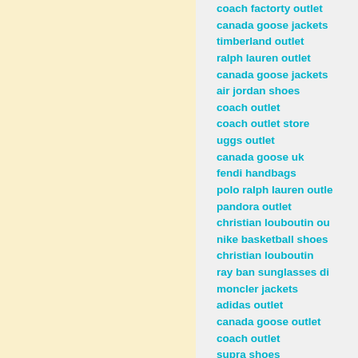coach factorty outlet
canada goose jackets
timberland outlet
ralph lauren outlet
canada goose jackets
air jordan shoes
coach outlet
coach outlet store
uggs outlet
canada goose uk
fendi handbags
polo ralph lauren outlet
pandora outlet
christian louboutin ou
nike basketball shoes
christian louboutin
ray ban sunglasses di
moncler jackets
adidas outlet
canada goose outlet
coach outlet
supra shoes
ecco shoes
ferragamo shoes
canada goose outlet
cheap jordans
coach outlet